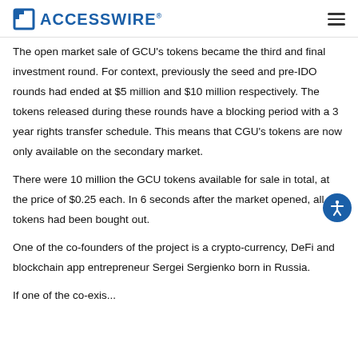ACCESSWIRE
The open market sale of GCU's tokens became the third and final investment round. For context, previously the seed and pre-IDO rounds had ended at $5 million and $10 million respectively. The tokens released during these rounds have a blocking period with a 3 year rights transfer schedule. This means that CGU's tokens are now only available on the secondary market.
There were 10 million the GCU tokens available for sale in total, at the price of $0.25 each. In 6 seconds after the market opened, all tokens had been bought out.
One of the co-founders of the project is a crypto-currency, DeFi and blockchain app entrepreneur Sergei Sergienko born in Russia.
If one of the co-existing...